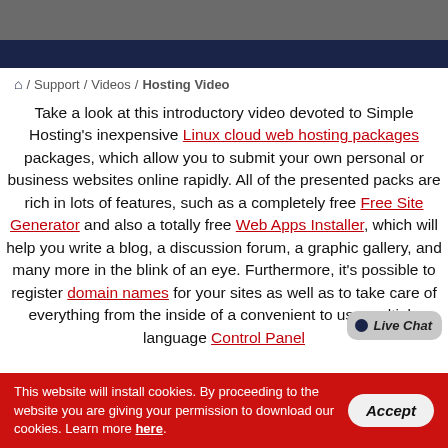[gray header bar]
[navy navigation bar]
🏠 / Support / Videos / Hosting Video
Take a look at this introductory video devoted to Simple Hosting's inexpensive Linux cloud web hosting packages packages, which allow you to submit your own personal or business websites online rapidly. All of the presented packs are rich in lots of features, such as a completely free Free Site Generator and also a totally free Web Apps Installer, which will help you write a blog, a discussion forum, a graphic gallery, and many more in the blink of an eye. Furthermore, it's possible to register domain names for your sites as well as to take care of everything from the inside of a convenient to use multiple language Control Panel
This website will install cookies. By proceeding to the website you are giving your permission to download our cookies. Learn more here.